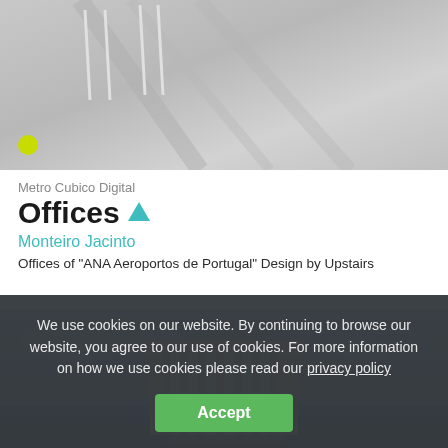[Figure (photo): Interior office rendering showing a room with gray floor, chairs, shadows and a yellow-green ball in corner]
Metro Cubico Digital
Offices ▲
Monteiro Jacinto
Offices of "ANA Aeroportos de Portugal" Design by Upstairs
[Figure (photo): Architectural rendering of a modern office building with wood/glass facade set against a cloudy gray sky]
We use cookies on our website. By continuing to browse our website, you agree to our use of cookies. For more information on how we use cookies please read our privacy policy
Accept